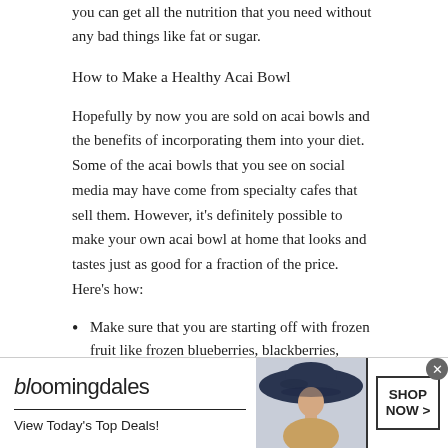you can get all the nutrition that you need without any bad things like fat or sugar.
How to Make a Healthy Acai Bowl
Hopefully by now you are sold on acai bowls and the benefits of incorporating them into your diet. Some of the acai bowls that you see on social media may have come from specialty cafes that sell them. However, it’s definitely possible to make your own acai bowl at home that looks and tastes just as good for a fraction of the price. Here’s how:
Make sure that you are starting off with frozen fruit like frozen blueberries, blackberries, strawberries and bananas.
Once everything is frozen, add milk and yogurt to a blender along with the berries and mix thoroughly.
[Figure (infographic): Bloomingdale's advertisement banner at bottom of page. Shows Bloomingdale's logo with underline, tagline 'View Today’s Top Deals!', a photo of a woman in a large navy hat, a SHOP NOW > button, and a close (x) button.]